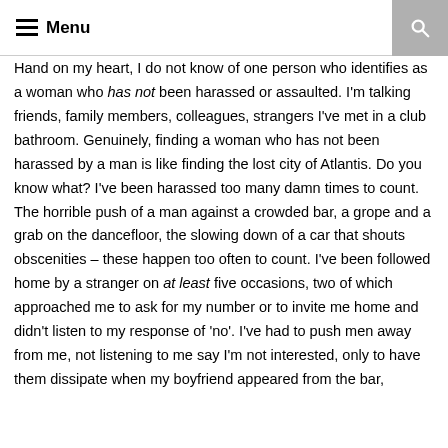Menu
Hand on my heart, I do not know of one person who identifies as a woman who has not been harassed or assaulted. I'm talking friends, family members, colleagues, strangers I've met in a club bathroom. Genuinely, finding a woman who has not been harassed by a man is like finding the lost city of Atlantis. Do you know what? I've been harassed too many damn times to count. The horrible push of a man against a crowded bar, a grope and a grab on the dancefloor, the slowing down of a car that shouts obscenities – these happen too often to count. I've been followed home by a stranger on at least five occasions, two of which approached me to ask for my number or to invite me home and didn't listen to my response of 'no'. I've had to push men away from me, not listening to me say I'm not interested, only to have them dissipate when my boyfriend appeared from the bar, thanks to a culture of male ownership. But that doesn't even